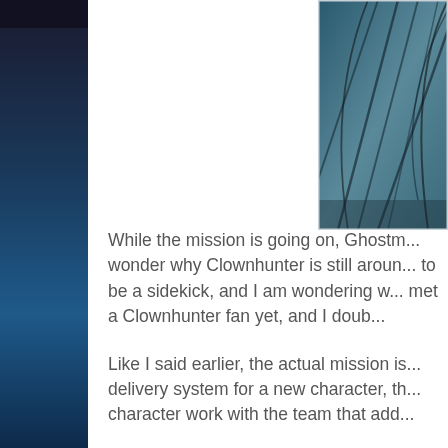[Figure (illustration): Comic book panel illustration showing dark angular lines on a teal/dark blue background, partially visible in the upper right corner of the page]
While the mission is going on, Ghostm... wonder why Clownhunter is still aroun... to be a sidekick, and I am wondering w... met a Clownhunter fan yet, and I doub...
Like I said earlier, the actual mission is... delivery system for a new character, th... character work with the team that add...